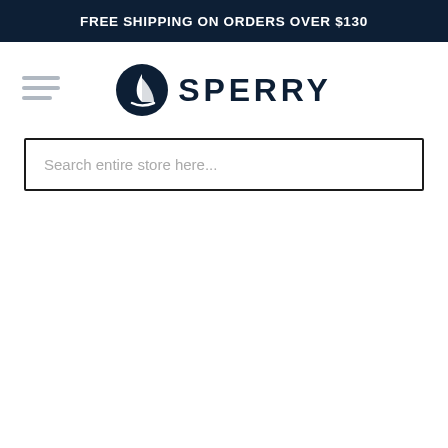FREE SHIPPING ON ORDERS OVER $130
[Figure (logo): Sperry brand logo with sailboat icon and SPERRY wordmark in dark navy]
Search entire store here...